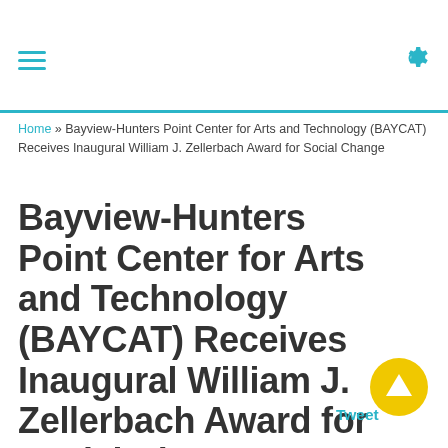≡ ⚙
Home » Bayview-Hunters Point Center for Arts and Technology (BAYCAT) Receives Inaugural William J. Zellerbach Award for Social Change
Bayview-Hunters Point Center for Arts and Technology (BAYCAT) Receives Inaugural William J. Zellerbach Award for Social Change
Tweet